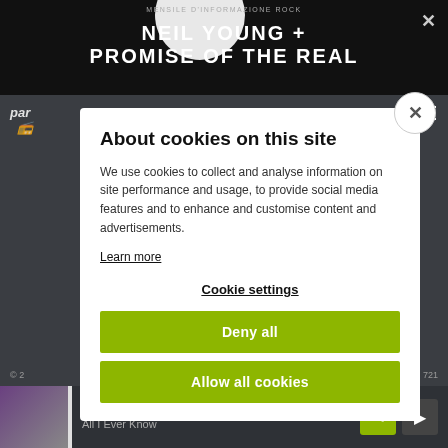[Figure (screenshot): Dark website background with black top banner showing 'MENSILE D'INFORMAZIONE ROCK' and 'NEIL YOUNG + PROMISE OF THE REAL' in large white text with moon graphic]
About cookies on this site
We use cookies to collect and analyse information on site performance and usage, to provide social media features and to enhance and customise content and advertisements.
Learn more
Cookie settings
Deny all
Allow all cookies
Everywhere / All I Ever Know